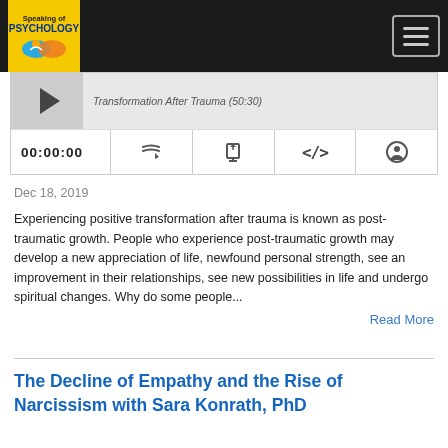Speaking of Psychology (logo/nav bar)
[Figure (screenshot): Podcast player widget showing episode title 'Transformation After Trauma (50:30)' with playback controls showing time 00:00:00, and icons for RSS, download, embed, and share]
Dec 18, 2019
Experiencing positive transformation after trauma is known as post-traumatic growth. People who experience post-traumatic growth may develop a new appreciation of life, newfound personal strength, see an improvement in their relationships, see new possibilities in life and undergo spiritual changes. Why do some people...
Read More
The Decline of Empathy and the Rise of Narcissism with Sara Konrath, PhD